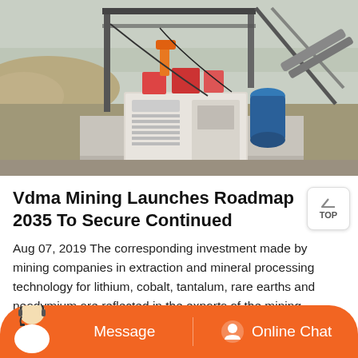[Figure (photo): Outdoor mining equipment on a concrete platform — a large white industrial machine with orange/red mechanical components and a blue barrel, conveyor belt/chute visible on the right, industrial structure overhead, sandy mounds and bare trees in background.]
Vdma Mining Launches Roadmap 2035 To Secure Continued
Aug 07, 2019 The corresponding investment made by mining companies in extraction and mineral processing technology for lithium, cobalt, tantalum, rare earths and neodymium are reflected in the exports of the mining equipment manufacturers. In Germany, too especially in Saxony investments have been made in new lithium mining projects.